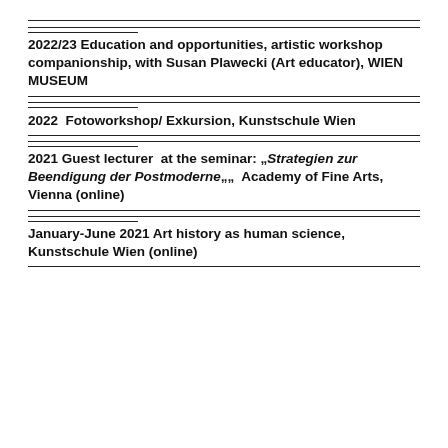2022/23 Education and opportunities, artistic workshop companionship, with Susan Plawecki (Art educator), WIEN MUSEUM
2022  Fotoworkshop/ Exkursion, Kunstschule Wien
2021 Guest lecturer  at the seminar: „Strategien zur Beendigung der Postmoderne„„  Academy of Fine Arts, Vienna (online)
January-June 2021 Art history as human science, Kunstschule Wien (online)